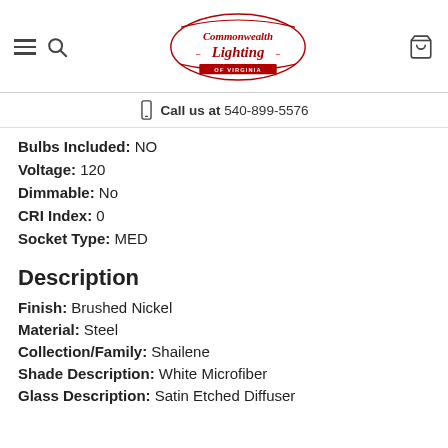Commonwealth Lighting of Virginia — Call us at 540-899-5576
Bulbs Included: NO
Voltage: 120
Dimmable: No
CRI Index: 0
Socket Type: MED
Description
Finish: Brushed Nickel
Material: Steel
Collection/Family: Shailene
Shade Description: White Microfiber
Glass Description: Satin Etched Diffuser